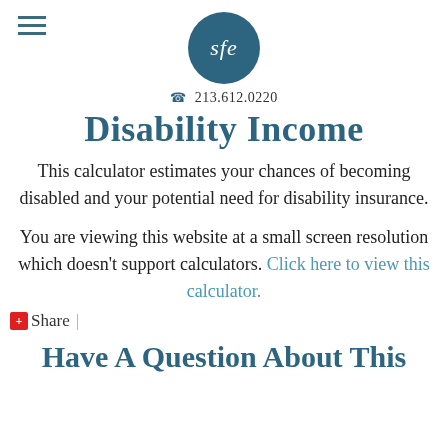sfe | 213.612.0220
Disability Income
This calculator estimates your chances of becoming disabled and your potential need for disability insurance.
You are viewing this website at a small screen resolution which doesn't support calculators. Click here to view this calculator.
Share |
Have A Question About This